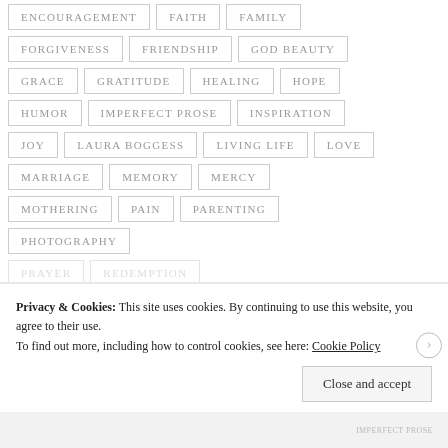ENCOURAGEMENT
FAITH
FAMILY
FORGIVENESS
FRIENDSHIP
GOD BEAUTY
GRACE
GRATITUDE
HEALING
HOPE
HUMOR
IMPERFECT PROSE
INSPIRATION
JOY
LAURA BOGGESS
LIVING LIFE
LOVE
MARRIAGE
MEMORY
MERCY
MOTHERING
PAIN
PARENTING
PHOTOGRAPHY
Privacy & Cookies: This site uses cookies. By continuing to use this website, you agree to their use. To find out more, including how to control cookies, see here: Cookie Policy
Close and accept